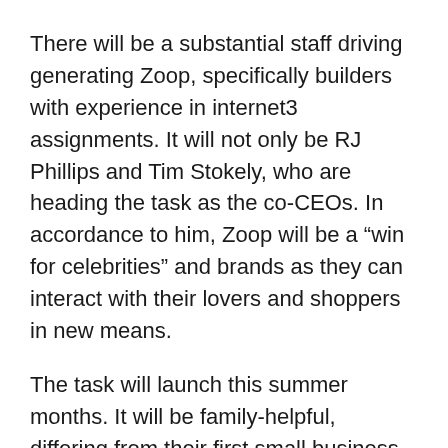There will be a substantial staff driving generating Zoop, specifically builders with experience in internet3 assignments. It will not only be RJ Phillips and Tim Stokely, who are heading the task as the co-CEOs. In accordance to him, Zoop will be a “win for celebrities” and brands as they can interact with their lovers and shoppers in new means.
The task will launch this summer months. It will be family-helpful, differing from their first small business of OnlyFans.
The initial drops on the platform will have 500 cards of just about every influencer. They will be offered to people through Dutch Auction. As soon as auctioned, subsequent drops will be dictated by demand.